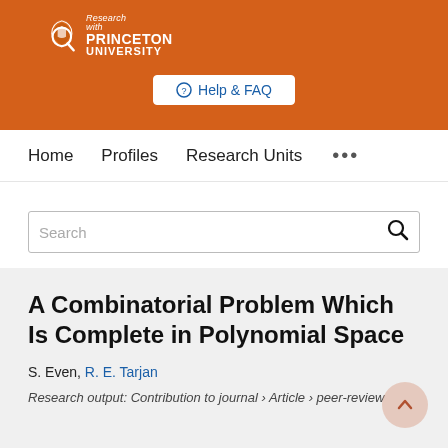[Figure (logo): Research with Princeton University logo on orange banner background, with Help & FAQ button]
Home  Profiles  Research Units  ...
Search
A Combinatorial Problem Which Is Complete in Polynomial Space
S. Even, R. E. Tarjan
Research output: Contribution to journal › Article › peer-review